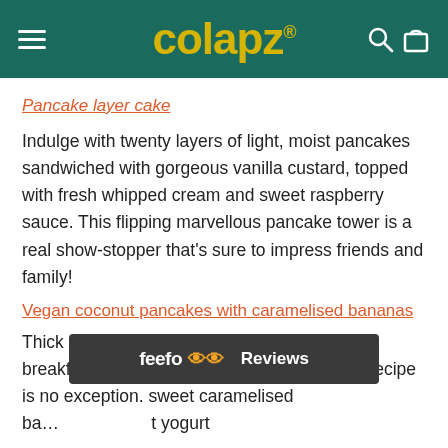colapz [navigation bar with hamburger menu, search and bag icons]
Pancake layer cake
Indulge with twenty layers of light, moist pancakes sandwiched with gorgeous vanilla custard, topped with fresh whipped cream and sweet raspberry sauce. This flipping marvellous pancake tower is a real show-stopper that's sure to impress friends and family!
Vegan coconut pancakes with caramelised bananas
Thick fluffy pancakes make a great weekend breakfast, and this vegan coconut pancakes recipe is no exception. sweet caramelised ba... t yogurt
[Figure (screenshot): Feefo Reviews overlay bar at the bottom of the page]